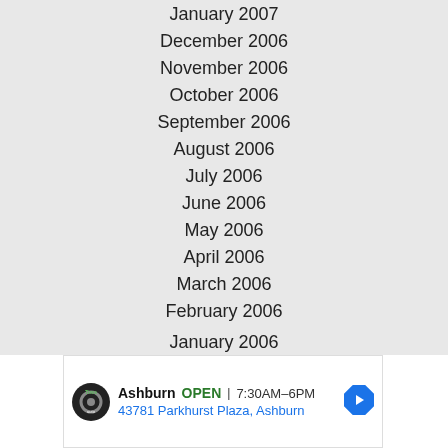January 2007
December 2006
November 2006
October 2006
September 2006
August 2006
July 2006
June 2006
May 2006
April 2006
March 2006
February 2006
January 2006
[Figure (infographic): Advertisement banner for Tires Plus Auto in Ashburn. Shows logo, OPEN status, hours 7:30AM-6PM, and address 43781 Parkhurst Plaza, Ashburn. Navigation arrow icon on right.]